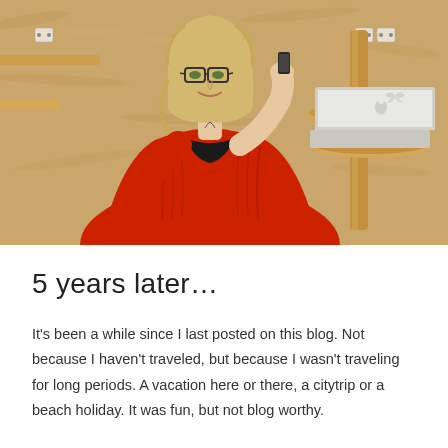[Figure (photo): A woman with blonde hair and glasses wearing a red knit cardigan over a black top, sitting at a small round wall-mounted wooden table in a coworking space with OSB board walls. She is talking on a phone and has an open MacBook laptop on the table in front of her. The walls have wooden shelves and power outlets visible.]
5 years later…
It's been a while since I last posted on this blog. Not because I haven't traveled, but because I wasn't traveling for long periods. A vacation here or there, a citytrip or a beach holiday. It was fun, but not blog worthy.